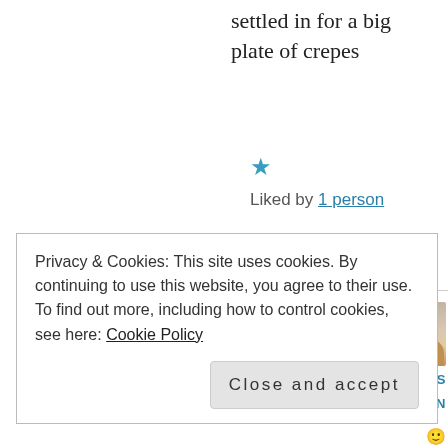settled in for a big plate of crepes
★ Liked by 1 person
↩ Reply
[Figure (photo): Avatar photo of a person, partially visible]
CHELS
N
Privacy & Cookies: This site uses cookies. By continuing to use this website, you agree to their use.
To find out more, including how to control cookies, see here: Cookie Policy
Close and accept